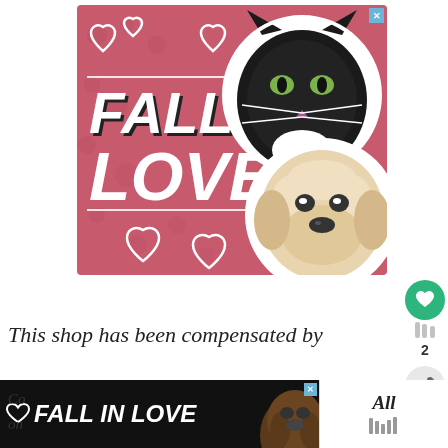[Figure (illustration): Advertisement banner with pink/red background showing 'FALL IN LOVE' text in large white bold italic font, with heart outlines, a black and white cat photo, and a white fluffy dog photo. Has a blue close X button in top right corner.]
[Figure (infographic): Floating green circle button with heart icon (like button), number 2 below it, and a share button with plus icon.]
This shop has been compensated by
[Figure (illustration): Bottom advertisement banner with dark background showing 'FALL IN LOVE' text, heart outline icon, a dog photo on right, and a white right section with 'All' text and music note icon. Has blue close X button.]